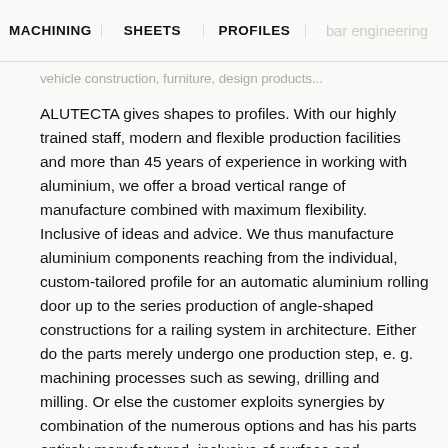MACHINING | SHEETS | PROFILES | bar engineering
vehicle construction, furniture, design products...
ALUTECTA gives shapes to profiles. With our highly trained staff, modern and flexible production facilities and more than 45 years of experience in working with aluminium, we offer a broad vertical range of manufacture combined with maximum flexibility. Inclusive of ideas and advice. We thus manufacture aluminium components reaching from the individual, custom-tailored profile for an automatic aluminium rolling door up to the series production of angle-shaped constructions for a railing system in architecture. Either do the parts merely undergo one production step, e. g. machining processes such as sewing, drilling and milling. Or else the customer exploits synergies by combination of the numerous options and has his parts entirely manufactured, inclusive of surface and assembly. This is where the "all from one source" service becomes efficient...